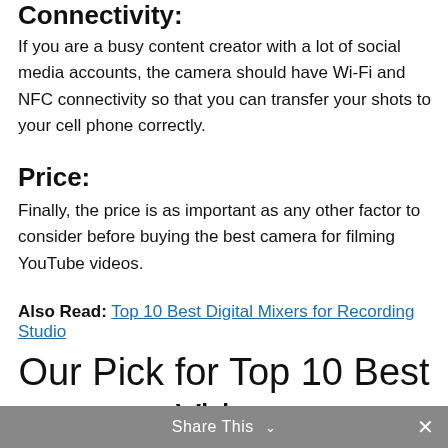Connectivity:
If you are a busy content creator with a lot of social media accounts, the camera should have Wi-Fi and NFC connectivity so that you can transfer your shots to your cell phone correctly.
Price:
Finally, the price is as important as any other factor to consider before buying the best camera for filming YouTube videos.
Also Read: Top 10 Best Digital Mixers for Recording Studio
Our Pick for Top 10 Best Video Camera for Filming YouTube
Share This ∨  ✕